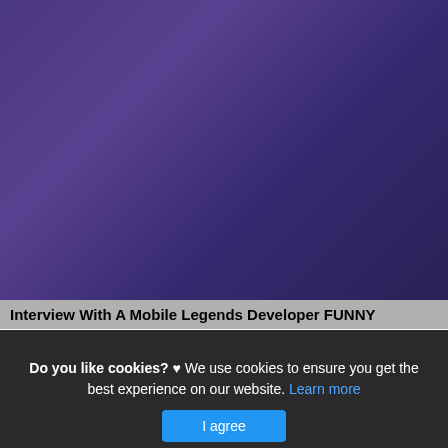[Figure (photo): Photo of four people posing in front of a Mobile Legends branded backdrop with Astro logo on the left. Text overlay reads DEVELOPER INTERVIEW at the bottom of the photo.]
Interview With A Mobile Legends Developer FUNNY
This is actually a write-up or even picture around the Interview With A Mobile Legends Developer FUNNY Mobile Legends, if you desire much a lot extra details around the
Do you like cookies? ♥ We use cookies to ensure you get the best experience on our website. Learn more I agree